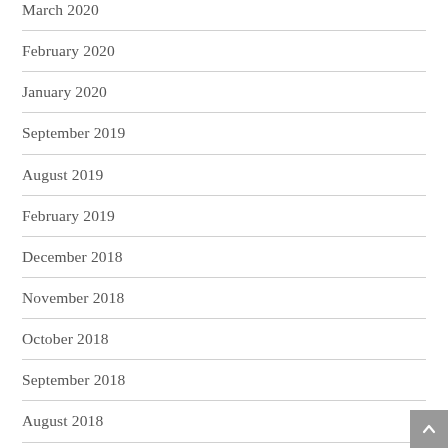March 2020
February 2020
January 2020
September 2019
August 2019
February 2019
December 2018
November 2018
October 2018
September 2018
August 2018
March 2018